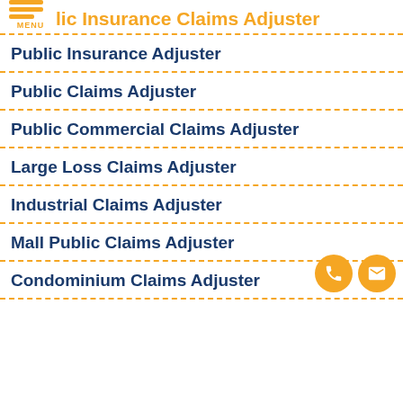lic Insurance Claims Adjuster
Public Insurance Adjuster
Public Claims Adjuster
Public Commercial Claims Adjuster
Large Loss Claims Adjuster
Industrial Claims Adjuster
Mall Public Claims Adjuster
Condominium Claims Adjuster